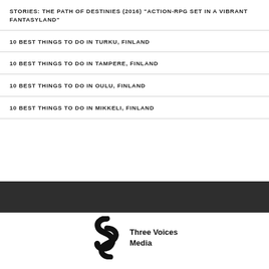STORIES: THE PATH OF DESTINIES (2016) "ACTION-RPG SET IN A VIBRANT FANTASYLAND"
10 BEST THINGS TO DO IN TURKU, FINLAND
10 BEST THINGS TO DO IN TAMPERE, FINLAND
10 BEST THINGS TO DO IN OULU, FINLAND
10 BEST THINGS TO DO IN MIKKELI, FINLAND
[Figure (logo): Three Voices Media logo with stylized S-shape icon and text]